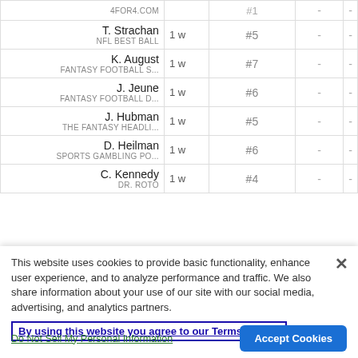| Expert | Age | Rank | - | - |
| --- | --- | --- | --- | --- |
| 4FOR4.COM |  | #1 (partial) | - | - |
| T. Strachan / NFL BEST BALL | 1 w | #5 | - | - |
| K. August / FANTASY FOOTBALL S... | 1 w | #7 | - | - |
| J. Jeune / FANTASY FOOTBALL D... | 1 w | #6 | - | - |
| J. Hubman / THE FANTASY HEADLI... | 1 w | #5 | - | - |
| D. Heilman / SPORTS GAMBLING PO... | 1 w | #6 | - | - |
| C. Kennedy / DR. ROTO | 1 w | #4 | - | - |
This website uses cookies to provide basic functionality, enhance user experience, and to analyze performance and traffic. We also share information about your use of our site with our social media, advertising, and analytics partners.
By using this website you agree to our Terms of Use.
Do Not Sell My Personal Information
Accept Cookies